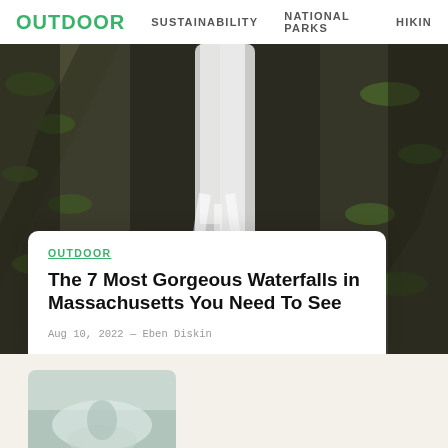OUTDOOR   SUSTAINABILITY   NATIONAL PARKS   HIKING
[Figure (photo): A waterfall cascading over dark rocky ledges surrounded by moss-covered boulders and green foliage.]
OUTDOOR
The 7 Most Gorgeous Waterfalls in Massachusetts You Need To See
Aug 10, 2022 — Eben Diskin
[Figure (photo): Partial thumbnail of a second article image visible at the bottom of the page.]